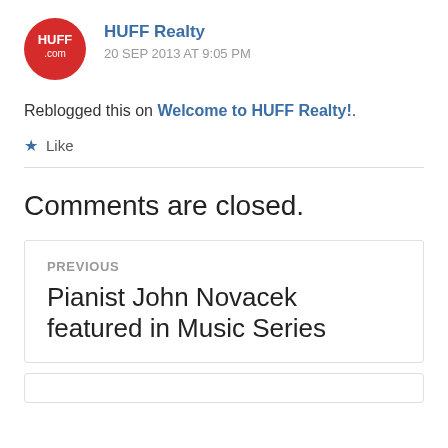[Figure (logo): HUFF Realty circular red logo with HUFF.com text]
HUFF Realty
20 SEP 2013 AT 9:05 PM
Reblogged this on Welcome to HUFF Realty!.
Like
Comments are closed.
PREVIOUS
Pianist John Novacek featured in Music Series